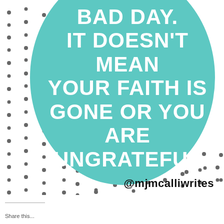[Figure (illustration): Motivational quote graphic with a teal/turquoise large circle on a white background with scattered black dots pattern. White bold uppercase text on the teal circle reads: BAD DAY. IT DOESN'T MEAN YOUR FAITH IS GONE OR YOU ARE UNGRATEFUL. Social media handle @mjmcalliwrites in black bold text at bottom right.]
@mjmcalliwrites
Share this...